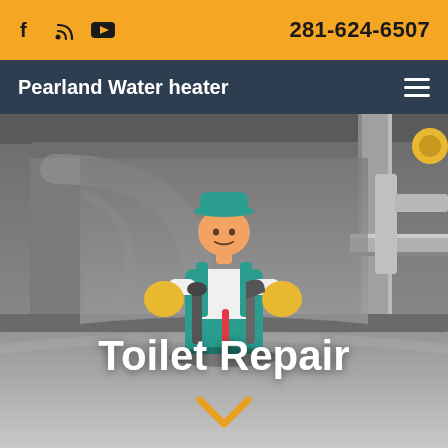f  [rss]  [youtube]   281-624-6507
Pearland Water heater
[Figure (illustration): Cartoon plumber holding tools standing inside a grey toilet tank, with plumbing pipes visible on the right side. Background shows the inside of a toilet cistern in grey tones.]
Toilet Repair